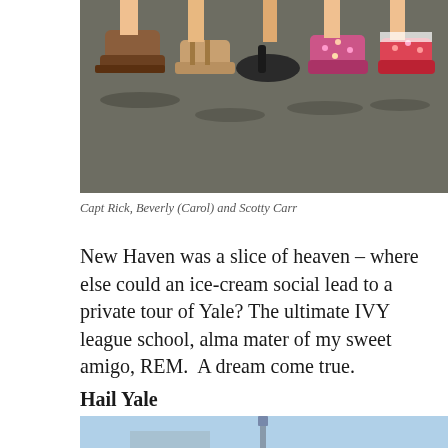[Figure (photo): Photo showing feet/shoes of multiple people standing on asphalt pavement, taken from above looking down. Various sandals and shoes visible.]
Capt Rick, Beverly (Carol) and Scotty Carr
New Haven was a slice of heaven – where else could an ice-cream social lead to a private tour of Yale? The ultimate IVY league school, alma mater of my sweet amigo, REM.  A dream come true.
Hail Yale
[Figure (photo): Partial photo showing a light blue sky with what appears to be a tall structure or tower, cropped at bottom of page.]